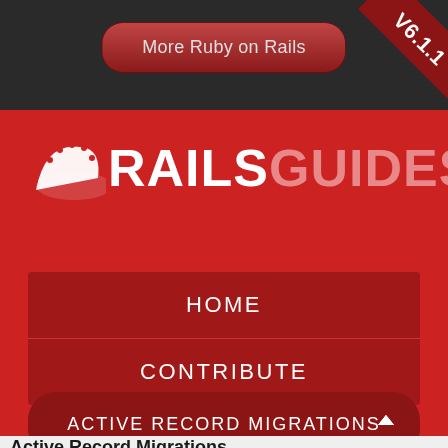[Figure (screenshot): Rails Guides website mobile navigation screenshot showing header bar with 'More Ruby on Rails' button, V6.1.1 version badge in top-right corner, Rails Guides logo on red background, HOME and CONTRIBUTE menu items, Active Record Migrations dropdown, and page title beginning at bottom.]
More Ruby on Rails
V6.1.1
RAILSGUIDES
HOME
CONTRIBUTE
ACTIVE RECORD MIGRATIONS
Active Record Migrations